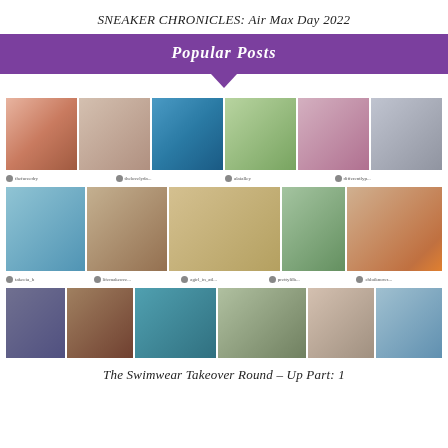SNEAKER CHRONICLES: Air Max Day 2022
Popular Posts
[Figure (photo): Grid of swimwear photos from Instagram posts showing plus-size women in various swimwear at beaches and pools. Three rows of multiple photos each with Instagram user captions below.]
The Swimwear Takeover Round – Up Part: 1